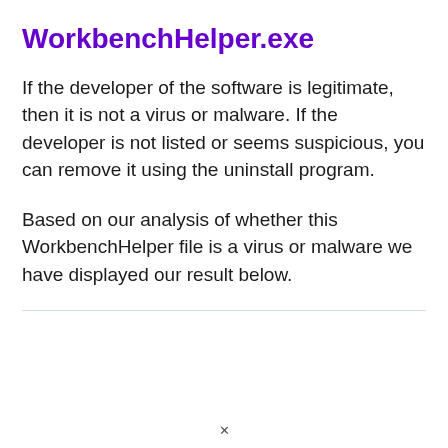WorkbenchHelper.exe
If the developer of the software is legitimate, then it is not a virus or malware. If the developer is not listed or seems suspicious, you can remove it using the uninstall program.
Based on our analysis of whether this WorkbenchHelper file is a virus or malware we have displayed our result below.